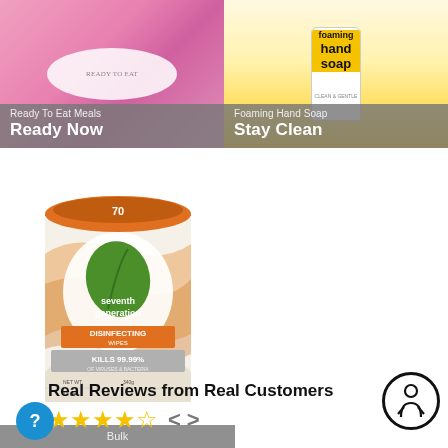[Figure (photo): Ready To Eat Meals product image with pink packaging and oval pill shape]
Ready To Eat Meals
Ready Now
[Figure (photo): Foaming Hand Soap product bottle with yellow label]
Foaming Hand Soap
Stay Clean
[Figure (photo): Seventh Generation Disinfecting Wipes 70-count canister with orange lid]
Bulk
Save in Bulk
Real Reviews from Real Customers
[Figure (other): Star rating display showing approximately 4 out of 5 stars with navigation arrows]